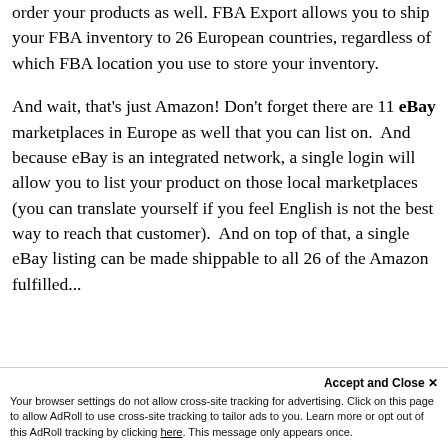order your products as well. FBA Export allows you to ship your FBA inventory to 26 European countries, regardless of which FBA location you use to store your inventory.
And wait, that's just Amazon! Don't forget there are 11 eBay marketplaces in Europe as well that you can list on.  And because eBay is an integrated network, a single login will allow you to list your product on those local marketplaces (you can translate yourself if you feel English is not the best way to reach that customer).  And on top of that, a single eBay listing can be made shippable to all 26 of the Amazon fulfilled...
Accept and Close ×
Your browser settings do not allow cross-site tracking for advertising. Click on this page to allow AdRoll to use cross-site tracking to tailor ads to you. Learn more or opt out of this AdRoll tracking by clicking here. This message only appears once.